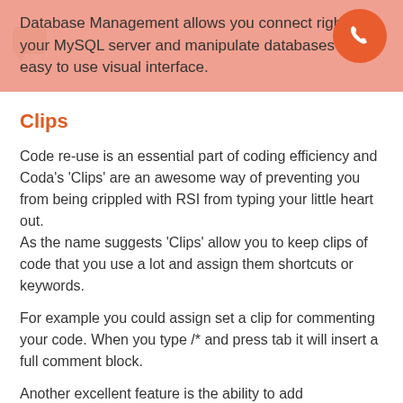Database Management allows you connect right to your MySQL server and manipulate databases from a easy to use visual interface.
Clips
Code re-use is an essential part of coding efficiency and Coda's 'Clips' are an awesome way of preventing you from being crippled with RSI from typing your little heart out.
As the name suggests 'Clips' allow you to keep clips of code that you use a lot and assign them shortcuts or keywords.
For example you could assign set a clip for commenting your code. When you type /* and press tab it will insert a full comment block.
Another excellent feature is the ability to add